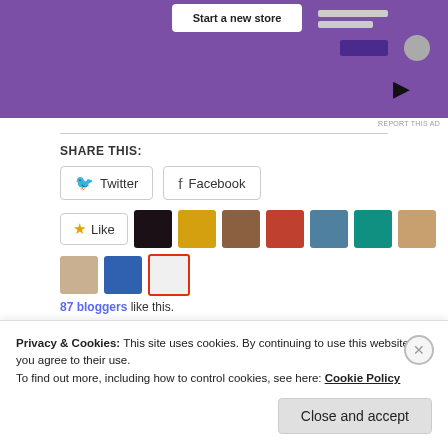[Figure (screenshot): Purple advertisement banner with 'Start a new store' white button, decorative UI elements, mouse cursor icon]
REPORT THIS AD
SHARE THIS:
[Figure (screenshot): Share buttons: Twitter and Facebook]
[Figure (screenshot): Like button with star icon and row of blogger avatars. 87 bloggers like this.]
87 bloggers like this.
Related
Blogger Recognition Award
Blogger Recognition Award
Privacy & Cookies: This site uses cookies. By continuing to use this website, you agree to their use.
To find out more, including how to control cookies, see here: Cookie Policy
Close and accept